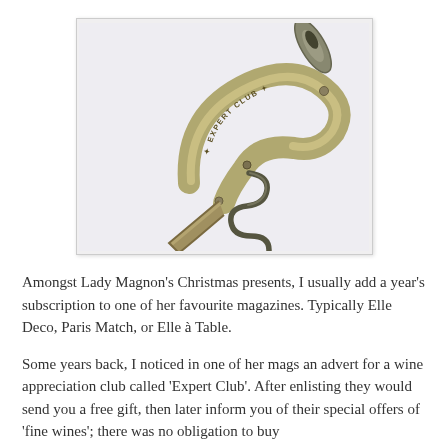[Figure (photo): A silver/metallic waiter's corkscrew (sommelier knife) with the text 'EXPERT CLUB' engraved on the handle, shown open with the corkscrew worm extended and a small blade also open, photographed on a white/light purple background.]
Amongst Lady Magnon's Christmas presents, I usually add a year's subscription to one of her favourite magazines. Typically Elle Deco, Paris Match, or Elle à Table.
Some years back, I noticed in one of her mags an advert for a wine appreciation club called 'Expert Club'. After enlisting they would send you a free gift, then later inform you of their special offers of 'fine wines'; there was no obligation to buy